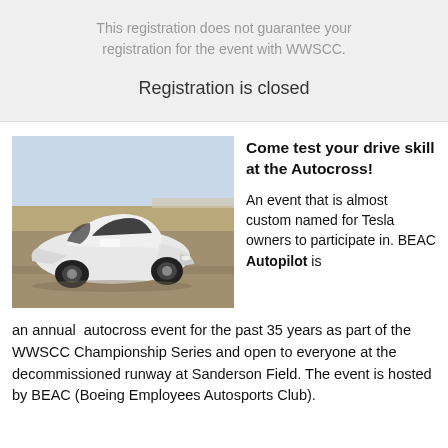This registration does not guarantee your registration for the event with WWSCC.
Registration is closed
[Figure (photo): A white Tesla Model 3 racing car on a track/runway at an autocross event]
Come test your drive skill at the Autocross!

An event that is almost custom named for Tesla owners to participate in. BEAC Autopilot is an annual autocross event for the past 35 years as part of the WWSCC Championship Series and open to everyone at the decommissioned runway at Sanderson Field. The event is hosted by BEAC (Boeing Employees Autosports Club).